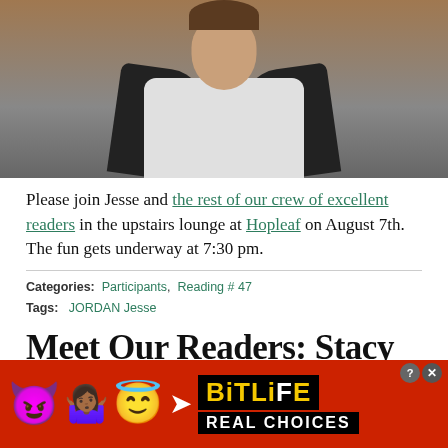[Figure (photo): Headshot photo of a person (Jesse) wearing a white shirt and dark jacket, sitting in what appears to be a venue with wooden elements in background]
Please join Jesse and the rest of our crew of excellent readers in the upstairs lounge at Hopleaf on August 7th. The fun gets underway at 7:30 pm.
Categories: Participants, Reading # 47
Tags: JORDAN Jesse
Meet Our Readers: Stacy Bierlein
By Sara Ross Witt on July 31, 2012 10:03 AM
[Figure (screenshot): BitLife advertisement banner with emoji characters (devil, woman shrugging, angel, sperm) and text 'BitLife REAL CHOICES' on red background]